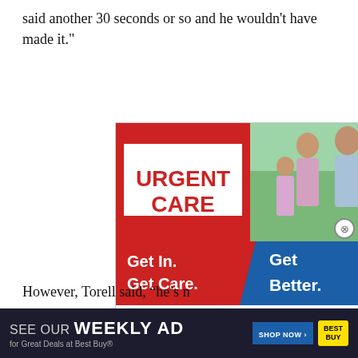said another 30 seconds or so and he wouldn't have made it."
[Figure (photo): Riverside Medical Group Urgent Care advertisement: red and blue banner with family photo, text 'URGENT CARE', 'Get In. Get Care.', 'Get Better.', and Riverside Medical Group logo]
[Figure (screenshot): CNBC video overlay showing a man speaking live from Shanghai. Ticker reads: FOSUN TOURISM POSTS 1H LOSS OF $28M. Name overlay: Qian Jiannong, FOSUN TOURISM CHAIRMAN AND CEO]
However, Torell said, “he’s n
[Figure (infographic): Best Buy advertisement: dark background with text 'SEE OUR WEEKLY AD for Great Deals at Best Buy'. SHOP NOW button and Best Buy logo.]